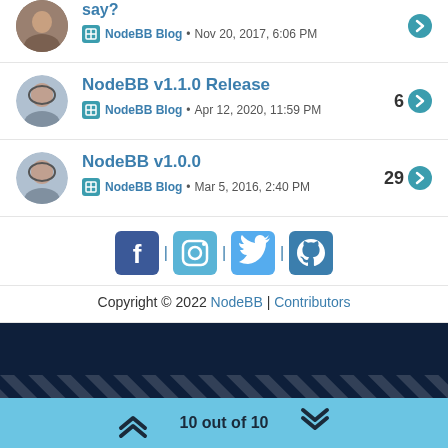NodeBB v1.1.0 Release - NodeBB Blog • Apr 12, 2020, 11:59 PM - 6 replies
NodeBB v1.0.0 - NodeBB Blog • Mar 5, 2016, 2:40 PM - 29 replies
[Figure (screenshot): Social media icons: Facebook, Instagram, Twitter, GitHub with separators]
Copyright © 2022 NodeBB | Contributors
[Figure (infographic): Dark navy background panel with diagonal white stripe pattern]
10 out of 10